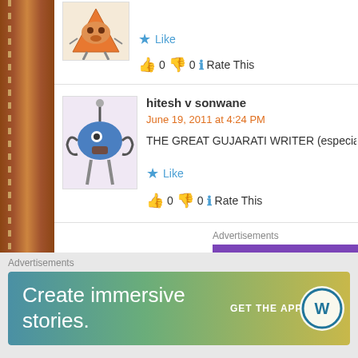[Figure (illustration): Cartoon avatar character - colorful triangular character with legs]
Like
👍 0 👎 0 ℹ Rate This
hitesh v sonwane
June 19, 2011 at 4:24 PM
THE GREAT GUJARATI WRITER (especially for youth ) is
[Figure (illustration): Cartoon avatar - blue robot-like character with chains]
Like
👍 0 👎 0 ℹ Rate This
Advertisements
[Figure (logo): WooCommerce logo on purple background]
Advertisements
[Figure (illustration): WordPress advertisement - Create immersive stories. GET THE APP with WordPress logo]